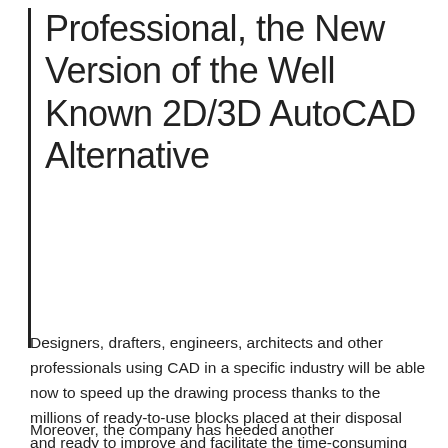Professional, the New Version of the Well Known 2D/3D AutoCAD Alternative
Designers, drafters, engineers, architects and other professionals using CAD in a specific industry will be able now to speed up the drawing process thanks to the millions of ready-to-use blocks placed at their disposal and ready to improve and facilitate the time-consuming routine work of drafting from scratch.
Moreover, the company has heeded another